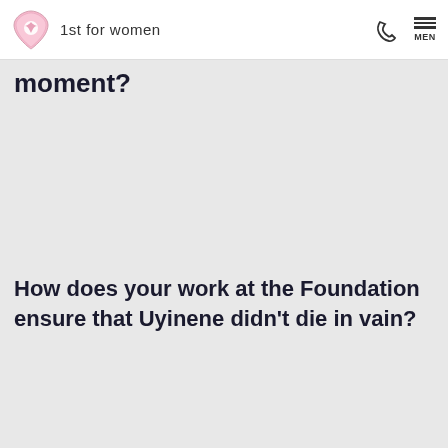1st for women
moment?
How does your work at the Foundation ensure that Uyinene didn't die in vain?